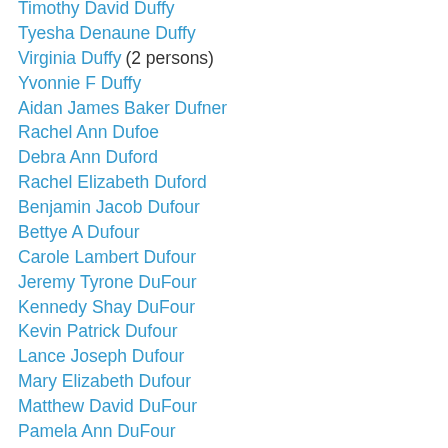Timothy David Duffy
Tyesha Denaune Duffy
Virginia Duffy (2 persons)
Yvonnie F Duffy
Aidan James Baker Dufner
Rachel Ann Dufoe
Debra Ann Duford
Rachel Elizabeth Duford
Benjamin Jacob Dufour
Bettye A Dufour
Carole Lambert Dufour
Jeremy Tyrone DuFour
Kennedy Shay DuFour
Kevin Patrick Dufour
Lance Joseph Dufour
Mary Elizabeth Dufour
Matthew David DuFour
Pamela Ann DuFour